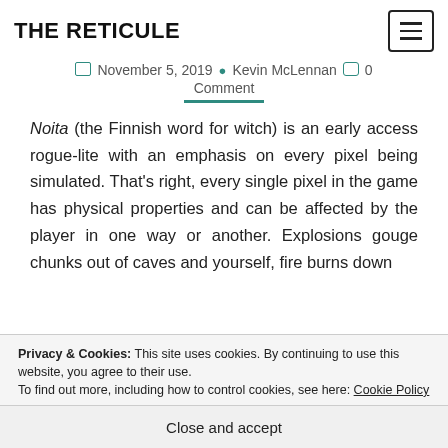THE RETICULE
November 5, 2019  Kevin McLennan  0 Comment
Noita (the Finnish word for witch) is an early access rogue-lite with an emphasis on every pixel being simulated. That's right, every single pixel in the game has physical properties and can be affected by the player in one way or another. Explosions gouge chunks out of caves and yourself, fire burns down
Privacy & Cookies: This site uses cookies. By continuing to use this website, you agree to their use. To find out more, including how to control cookies, see here: Cookie Policy
Close and accept
your way through Noita can be as precarious and